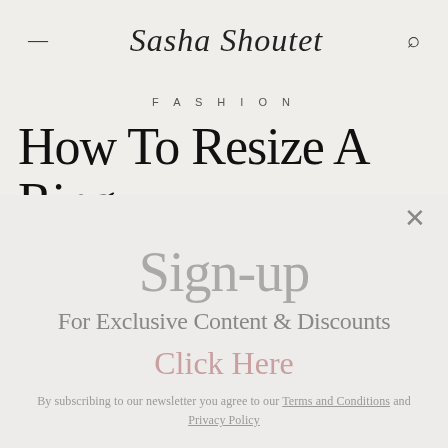≡  Sasha Shoutet  🔍
FASHION
How To Resize A Ring
×
Sign-up
For Exclusive Content & Discounts
Click Here
By subscribing to our newsletter you agree to our Terms and Conditions and Privacy Policy